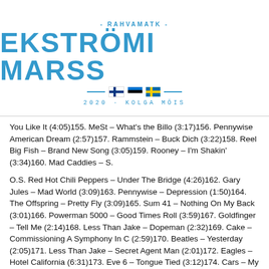[Figure (logo): Ekströmi Marss event logo with text '- RAHVAMATK -', 'EKSTRÖMI MARSS' in large blue letters, Finnish, Estonian and Swedish flags, and '2020 · KOLGA MÕIS']
You Like It (4:05)155. MeSt – What's the Billo (3:17)156. Pennywise American Dream (2:57)157. Rammstein – Buck Dich (3:22)158. Reel Big Fish – Brand New Song (3:05)159. Rooney – I'm Shakin' (3:34)160. Mad Caddies – S.
O.S. Red Hot Chili Peppers – Under The Bridge (4:26)162. Gary Jules – Mad World (3:09)163. Pennywise – Depression (1:50)164. The Offspring – Pretty Fly (3:09)165. Sum 41 – Nothing On My Back (3:01)166. Powerman 5000 – Good Times Roll (3:59)167. Goldfinger – Tell Me (2:14)168. Less Than Jake – Dopeman (2:32)169. Cake – Commissioning A Symphony In C (2:59)170. Beatles – Yesterday (2:05)171. Less Than Jake – Secret Agent Man (2:01)172. Eagles – Hotel California (6:31)173. Eve 6 – Tongue Tied (3:12)174. Cars – My Best Friend's Girl (3:43)175. Foreigner – Jukebox Hero (4:19)176. Alabama – Louisiana Saturday Night (2:12)177. Rooney – I'm A Terrible Person (2:46)178. George Thorogood – Hot Rod Lincoln (2:41)179. Sum 41 – Make No Difference (3:12)180. Good Charlotte – Seasons (3:16)181. Weezer – Getchoo (2:52)182. Goldfinger – Open Your